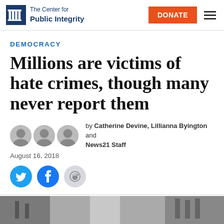The Center for Public Integrity | DONATE
DEMOCRACY
Millions are victims of hate crimes, though many never report them
by Catherine Devine, Lillianna Byington and News21 Staff
August 16, 2018
[Figure (other): Social sharing icons: Twitter, Facebook, Reddit]
[Figure (photo): Partial photo at bottom of page showing an outdoor street scene]